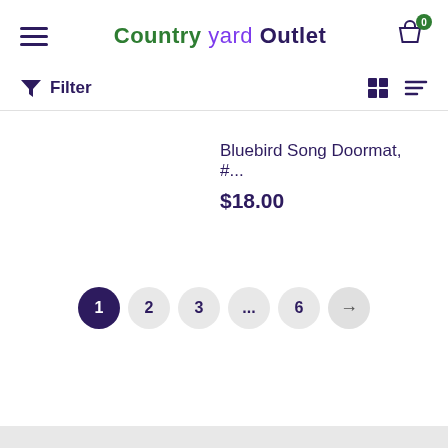Country yard Outlet
Filter
Bluebird Song Doormat, #...
$18.00
1 2 3 ... 6 →